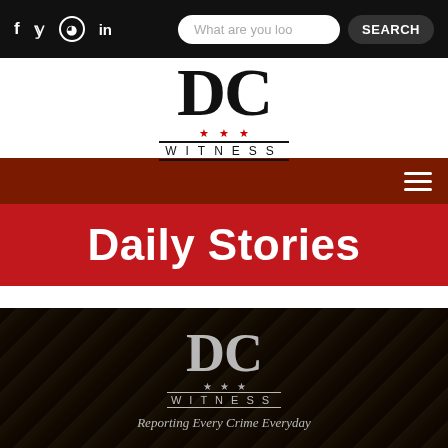f  y  ⓘ  in  |  What are you loo  SEARCH
[Figure (logo): DC Witness logo: large bold serif DC with red stars and WITNESS text]
[Figure (infographic): Dark red menu bar with hamburger icon on right]
Daily Stories
[Figure (logo): DC Witness logo on dark background with tagline: Reporting Every Crime Everyday]